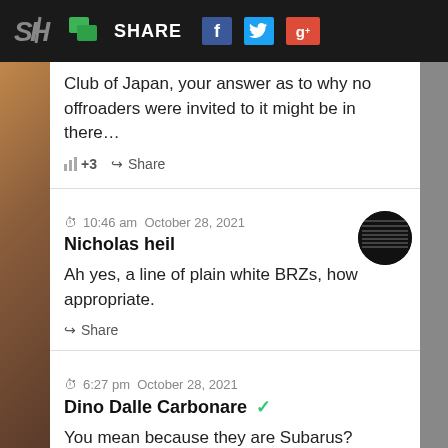SH SHARE
Club of Japan, your answer as to why no offroaders were invited to it might be in there…
+3  Share
10:46 am  October 28, 2021
Nicholas heil
Ah yes, a line of plain white BRZs, how appropriate.
Share
6:27 pm  October 28, 2021
Dino Dalle Carbonare ✓
You mean because they are Subarus?